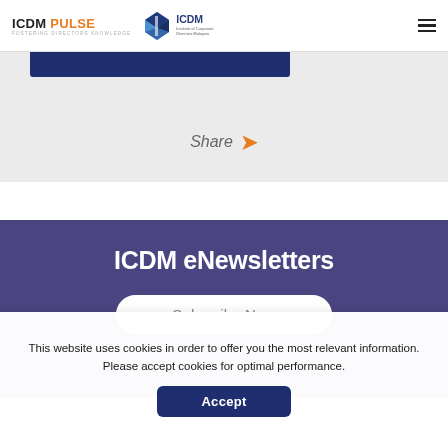ICDM PULSE — FOSTERING DIRECTORS KNOWLEDGE | ICDM Institute of Corporate Directors Malaysia
[Figure (screenshot): Blue bar button partially visible at top of gray share section]
Share >
ICDM eNewsletters
Subscribe Now
This website uses cookies in order to offer you the most relevant information. Please accept cookies for optimal performance.
Accept